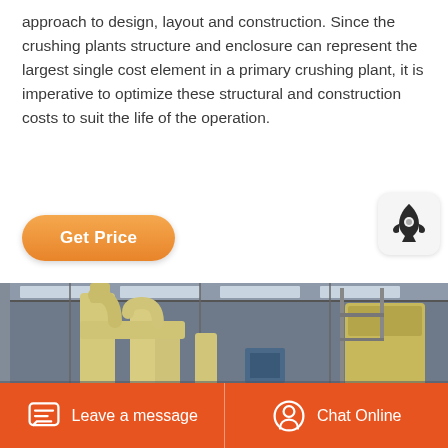approach to design, layout and construction. Since the crushing plants structure and enclosure can represent the largest single cost element in a primary crushing plant, it is imperative to optimize these structural and construction costs to suit the life of the operation.
[Figure (other): Orange rounded rectangle button labeled 'Get Price']
[Figure (photo): Interior of industrial factory/crushing plant showing large yellow dust collection pipes and equipment inside a metal-clad building]
Leave a message   Chat Online